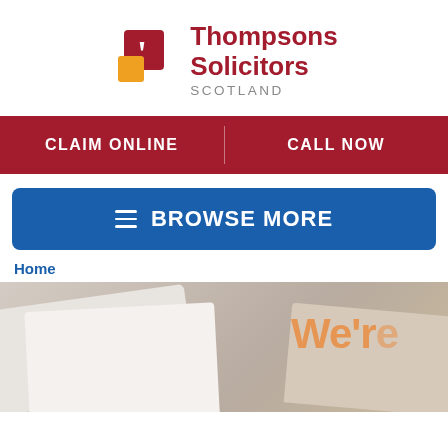[Figure (logo): Thompsons Solicitors Scotland logo with red and orange quotation mark icon]
CLAIM ONLINE
CALL NOW
≡ BROWSE MORE
Home
[Figure (photo): Photo of envelopes/paper on a wooden surface with 'We're...' text in orange, partially cropped]